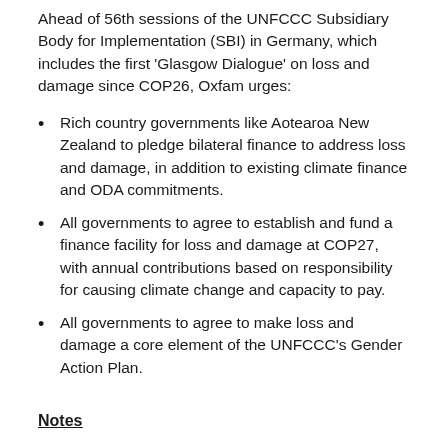Ahead of 56th sessions of the UNFCCC Subsidiary Body for Implementation (SBI) in Germany, which includes the first 'Glasgow Dialogue' on loss and damage since COP26, Oxfam urges:
Rich country governments like Aotearoa New Zealand to pledge bilateral finance to address loss and damage, in addition to existing climate finance and ODA commitments.
All governments to agree to establish and fund a finance facility for loss and damage at COP27, with annual contributions based on responsibility for causing climate change and capacity to pay.
All governments to agree to make loss and damage a core element of the UNFCCC's Gender Action Plan.
Notes